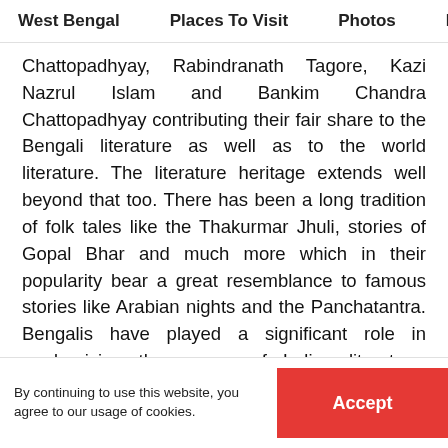West Bengal   Places To Visit   Photos   Best T
Chattopadhyay, Rabindranath Tagore, Kazi Nazrul Islam and Bankim Chandra Chattopadhyay contributing their fair share to the Bengali literature as well as to the world literature. The literature heritage extends well beyond that too. There has been a long tradition of folk tales like the Thakurmar Jhuli, stories of Gopal Bhar and much more which in their popularity bear a great resemblance to famous stories like Arabian nights and the Panchatantra. Bengalis have played a significant role in modernising the course of Indian literature. Rabindranath Tagore even went on to win the Nobel Prize for Literature for his collection of poems -
By continuing to use this website, you agree to our usage of cookies.